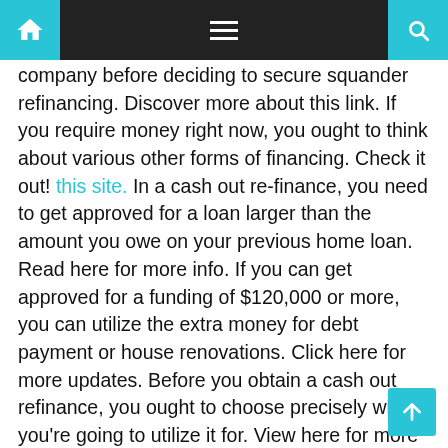Navigation bar with home, menu, and search icons
company before deciding to secure squander refinancing. Discover more about this link. If you require money right now, you ought to think about various other forms of financing. Check it out! this site. In a cash out re-finance, you need to get approved for a loan larger than the amount you owe on your previous home loan. Read here for more info. If you can get approved for a funding of $120,000 or more, you can utilize the extra money for debt payment or house renovations. Click here for more updates. Before you obtain a cash out refinance, you ought to choose precisely what you're going to utilize it for. View here for more details. You need to make sure you're utilizing the funds for a details function. Read more about this website. One method to acquire a cash out re-finance is to obtain a house equity credit line. Learn more about this homepage. The car loan uses your house a